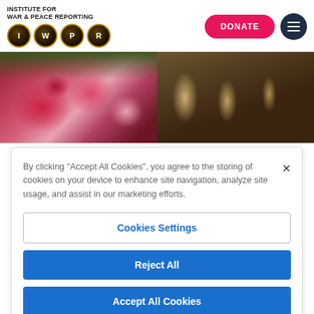[Figure (logo): Institute for War & Peace Reporting logo with IWPR circles]
[Figure (illustration): Red and pink roses bouquet photo]
[Figure (photo): People with hard hats at a construction or protest scene]
By clicking "Accept All Cookies", you agree to the storing of cookies on your device to enhance site navigation, analyze site usage, and assist in our marketing efforts.
Cookies Settings
Reject All
Accept All Cookies